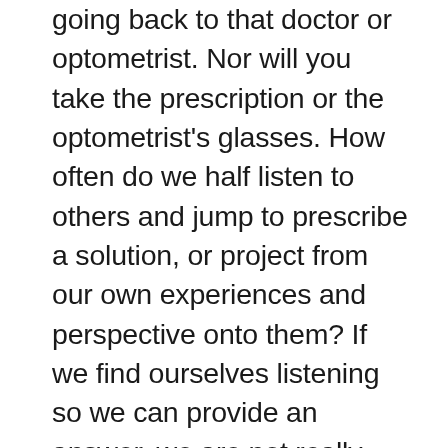going back to that doctor or optometrist. Nor will you take the prescription or the optometrist's glasses. How often do we half listen to others and jump to prescribe a solution, or project from our own experiences and perspective onto them? If we find ourselves listening so we can provide an answer, we are not really listening. True listening has only one goal, to fully understand the person in front of me.  To appreciate the words they are saying, which makes up only about 10% of the communications, to hear their voice, tone and intonation, which makes up another 30% of their communication and to notice and read their body language, which can make up to about 60% of their communication. True listening aims to understand their emotions and their needs. If we listen to understand, then people will trust us, we will build deeper relationships and then when we talk, people will truly appreciate what we have to say. If anyone ever says, 'no one ever listens to me', perhaps